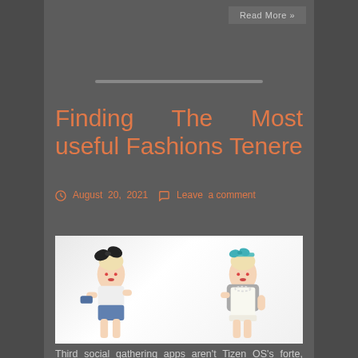Read More »
Finding The Most useful Fashions Tenere
August 20, 2021   Leave a comment
[Figure (photo): Two young women in fashion outfits on white background. Left woman wears a large black bow hair accessory, white top, and holds denim items. Right woman wears a blue bow headband, gray cardigan over white lace dress with pearl necklace.]
Third social gathering apps aren't Tizen OS's forte, nonetheless the